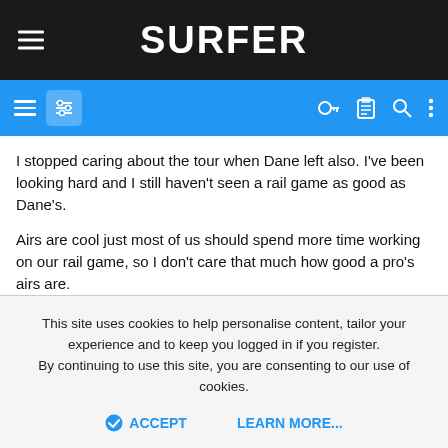SURFER
I stopped caring about the tour when Dane left also. I've been looking hard and I still haven't seen a rail game as good as Dane's.

Airs are cool just most of us should spend more time working on our rail game, so I don't care that much how good a pro's airs are.
smithgrind and Muscles
Retropete
Miki Dora status
This site uses cookies to help personalise content, tailor your experience and to keep you logged in if you register.
By continuing to use this site, you are consenting to our use of cookies.
ACCEPT    LEARN MORE...